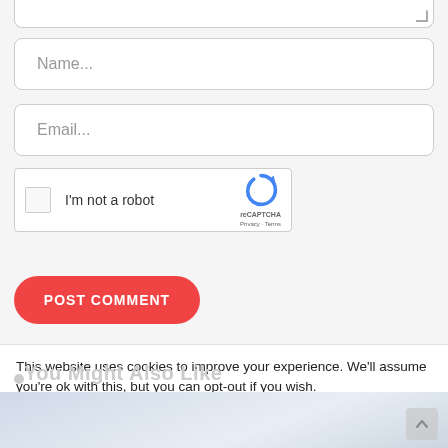[Figure (screenshot): Textarea stub at top with resize handle]
Name...
Email...
[Figure (other): reCAPTCHA widget with checkbox 'I'm not a robot']
POST COMMENT
This website uses cookies to improve your experience. We'll assume you're ok with this, but you can opt-out if you wish.
You Might Also Like
Read More
Accept
Decline